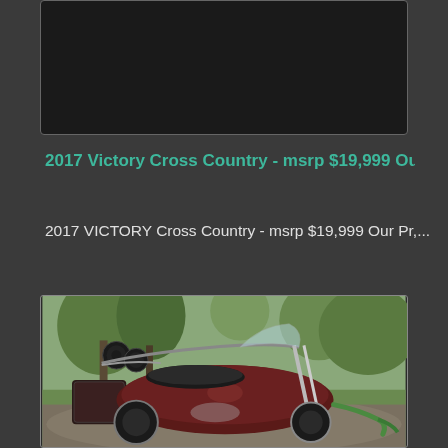[Figure (photo): Dark rectangular image placeholder at the top, showing a dark/black background, likely a motorcycle image that is not loaded or a dark scene.]
2017 Victory Cross Country - msrp $19,999 Our Pr
2017 VICTORY Cross Country - msrp $19,999 Our Pr,...
[Figure (photo): Photo of a 2017 Victory Cross Country motorcycle parked on a driveway or residential street, with trees and green lawn in the background. The motorcycle is dark red/maroon colored with chrome accents, handlebar-mounted speakers, a windshield, and saddlebags.]